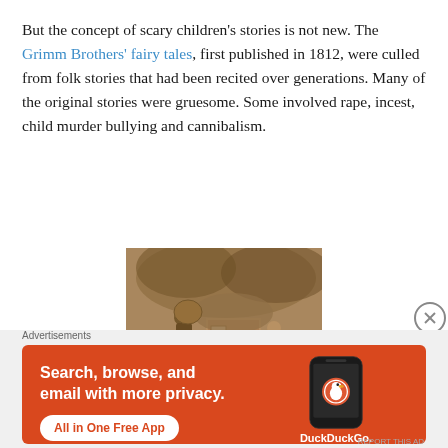But the concept of scary children's stories is not new. The Grimm Brothers' fairy tales, first published in 1812, were culled from folk stories that had been recited over generations. Many of the original stories were gruesome. Some involved rape, incest, child murder bullying and cannibalism.
[Figure (illustration): A sepia-toned vintage illustration showing a hunched old figure (witch/crone) with a large basket on her back approaching a small child near a storybook cottage, likely from a Grimm Brothers fairy tale.]
Advertisements
[Figure (screenshot): DuckDuckGo advertisement banner with orange background. Text reads: 'Search, browse, and email with more privacy. All in One Free App' with a smartphone showing the DuckDuckGo logo.]